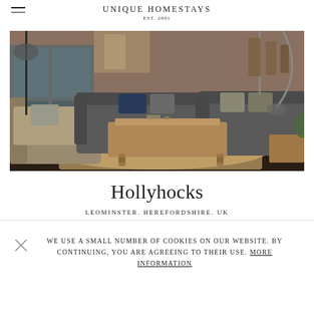UNIQUE HOMESTAYS EST. 2001
[Figure (photo): Interior of a stylish living room with grey sofas, a wooden coffee table on a woven rug, blue-framed glass partition doors, and industrial-style lighting.]
Hollyhocks
LEOMINSTER. HEREFORDSHIRE. UK
WE USE A SMALL NUMBER OF COOKIES ON OUR WEBSITE. BY CONTINUING, YOU ARE AGREEING TO THEIR USE. MORE INFORMATION